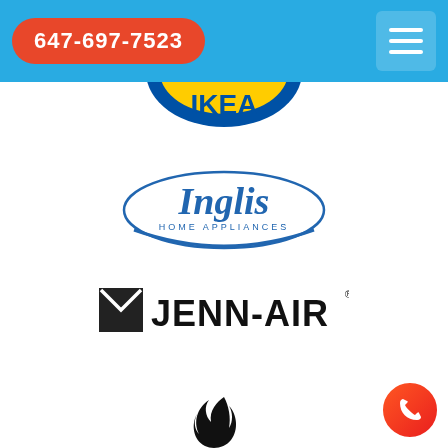647-697-7523
[Figure (logo): IKEA logo partial, yellow on blue oval background, cropped at top]
[Figure (logo): Inglis Home Appliances logo in blue italic script with swoosh underline]
[Figure (logo): Jenn-Air logo in dark/black text with envelope-like icon to the left]
[Figure (logo): Kelvinator logo in black with stylized flame/bird icon above italic text]